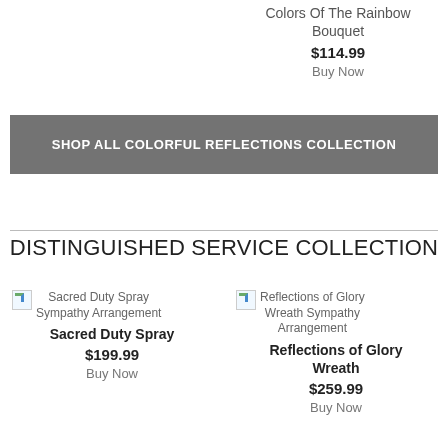Colors Of The Rainbow Bouquet
$114.99
Buy Now
SHOP ALL COLORFUL REFLECTIONS COLLECTION
DISTINGUISHED SERVICE COLLECTION
[Figure (photo): Sacred Duty Spray Sympathy Arrangement broken image placeholder]
Sacred Duty Spray
$199.99
Buy Now
[Figure (photo): Reflections of Glory Wreath Sympathy Arrangement broken image placeholder]
Reflections of Glory Wreath
$259.99
Buy Now